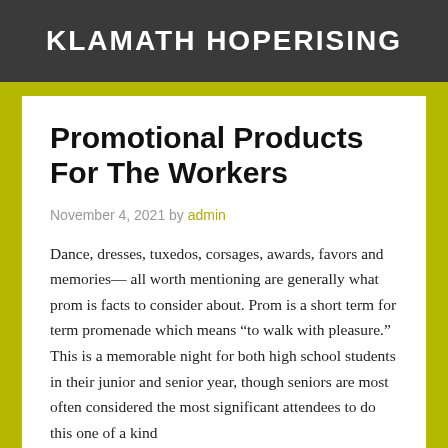KLAMATH HOPERISING
Promotional Products For The Workers
November 4, 2021 by admin
Dance, dresses, tuxedos, corsages, awards, favors and memories— all worth mentioning are generally what prom is facts to consider about. Prom is a short term for term promenade which means “to walk with pleasure.” This is a memorable night for both high school students in their junior and senior year, though seniors are most often considered the most significant attendees to do this one of a kind